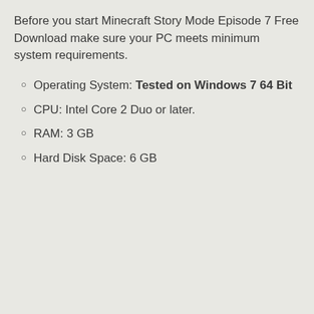Before you start Minecraft Story Mode Episode 7 Free Download make sure your PC meets minimum system requirements.
Operating System: Tested on Windows 7 64 Bit
CPU: Intel Core 2 Duo or later.
RAM: 3 GB
Hard Disk Space: 6 GB